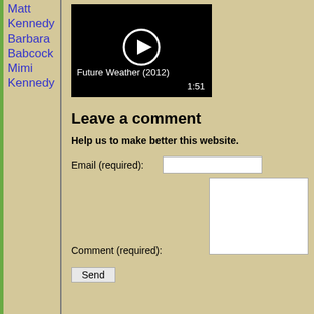Matt Kennedy
Barbara Babcock
Mimi Kennedy
[Figure (screenshot): Video thumbnail with play button showing 'Future Weather (2012)' and duration 1:51]
Leave a comment
Help us to make better this website.
Email (required):
Comment (required):
Send